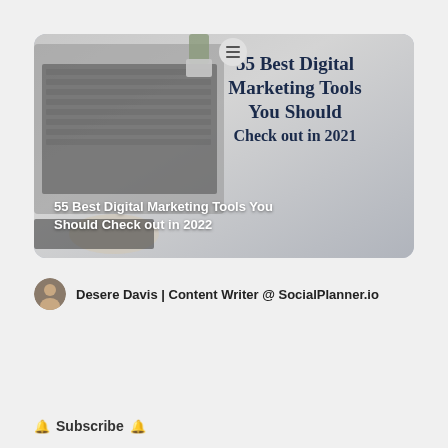[Figure (photo): Card image showing laptop keyboard with coffee cup and plant on desk, with large overlaid text '55 Best Digital Marketing Tools You Should Check out in 2021' in dark blue serif font, and smaller white bold overlay text '55 Best Digital Marketing Tools You Should Check out in 2022']
Desere Davis | Content Writer @ SocialPlanner.io
Subscribe